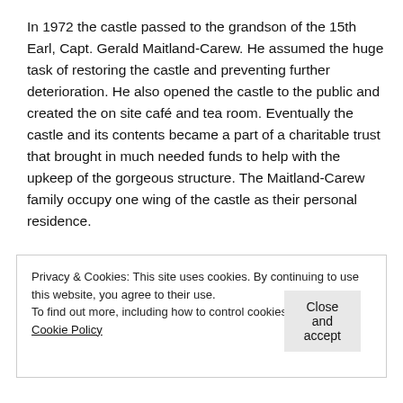In 1972 the castle passed to the grandson of the 15th Earl, Capt. Gerald Maitland-Carew. He assumed the huge task of restoring the castle and preventing further deterioration. He also opened the castle to the public and created the on site café and tea room. Eventually the castle and its contents became a part of a charitable trust that brought in much needed funds to help with the upkeep of the gorgeous structure. The Maitland-Carew family occupy one wing of the castle as their personal residence.
Privacy & Cookies: This site uses cookies. By continuing to use this website, you agree to their use.
To find out more, including how to control cookies, see here: Cookie Policy
Close and accept